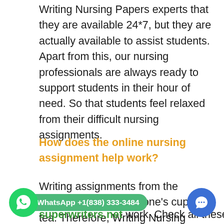Writing Nursing Papers experts that they are available 24*7, but they are actually available to assist students. Apart from this, our nursing professionals are always ready to support students in their hour of need. So that students feel relaxed from their difficult nursing assignments.
How does the online nursing assignment help work?
Writing assignments from the scratches is not everyone's cup of tea. Therefore, Writing Nursing Papers have mentioned the steps to place orders at superwriters.net work. Check all these points:
[Figure (infographic): WhatsApp contact button with phone icon and pill-shaped label showing WhatsApp +1(838) 333-3484, and a circular blue chat bubble icon on the right side]